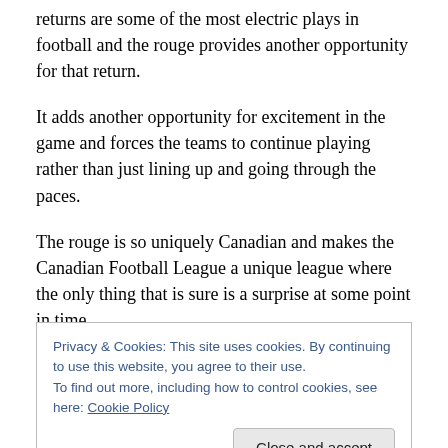returns are some of the most electric plays in football and the rouge provides another opportunity for that return.
It adds another opportunity for excitement in the game and forces the teams to continue playing rather than just lining up and going through the paces.
The rouge is so uniquely Canadian and makes the Canadian Football League a unique league where the only thing that is sure is a surprise at some point in time.
The arguments against the rouge made their way across
Privacy & Cookies: This site uses cookies. By continuing to use this website, you agree to their use.
To find out more, including how to control cookies, see here: Cookie Policy
Close and accept
out their own space in the football world.